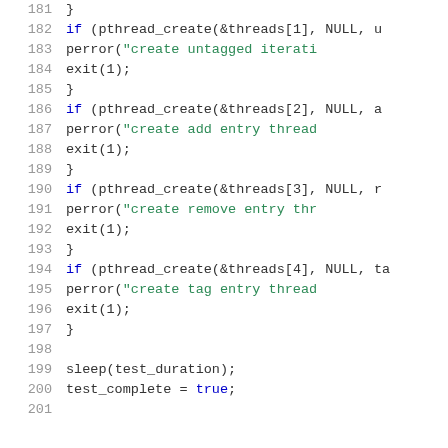Source code listing, lines 181-201, showing pthread_create calls and sleep/test_complete assignments